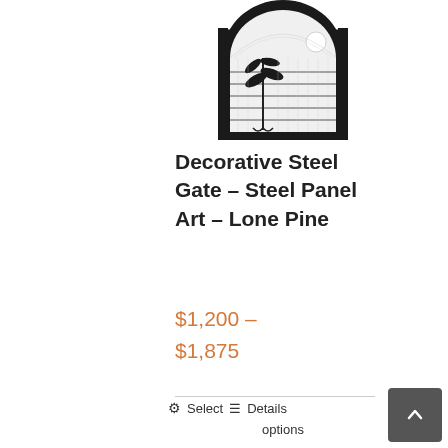[Figure (illustration): Black and white decorative steel gate with arched top, featuring a plant/flower design and moon motif]
Decorative Steel Gate – Steel Panel Art – Lone Pine
$1,200 – $1,875
Select options  Details